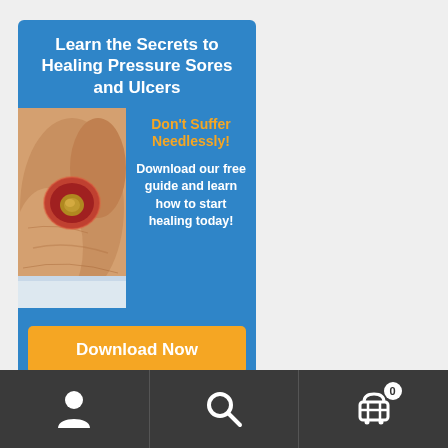Learn the Secrets to Healing Pressure Sores and Ulcers
Don't Suffer Needlessly!
Download our free guide and learn how to start healing today!
[Figure (photo): Close-up photograph of a pressure sore/wound on skin]
Download Now
[Figure (infographic): Bottom navigation toolbar with user account icon, search icon, and shopping cart icon with badge showing 0]